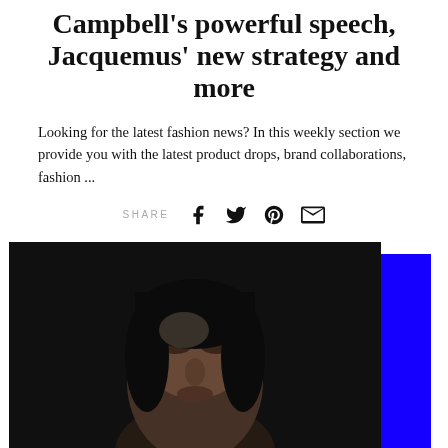Campbell's powerful speech, Jacquemus' new strategy and more
Looking for the latest fashion news? In this weekly section we provide you with the latest product drops, brand collaborations, fashion ...
[Figure (other): Social share icons row with label SHARE and icons for Facebook, Twitter, Pinterest, and email]
[Figure (photo): Black and white close-up portrait of a young woman looking upward, with dramatic lighting, placed over a bright blue background frame offset to the bottom-right]